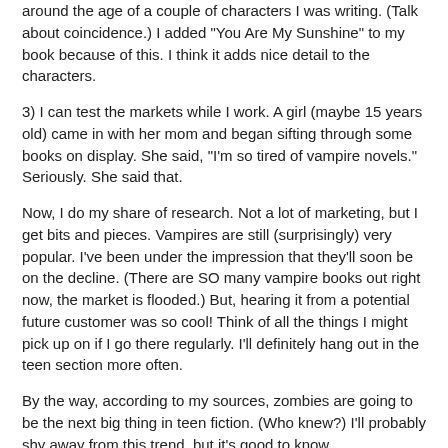around the age of a couple of characters I was writing. (Talk about coincidence.) I added "You Are My Sunshine" to my book because of this. I think it adds nice detail to the characters.
3) I can test the markets while I work. A girl (maybe 15 years old) came in with her mom and began sifting through some books on display. She said, "I'm so tired of vampire novels." Seriously. She said that.
Now, I do my share of research. Not a lot of marketing, but I get bits and pieces. Vampires are still (surprisingly) very popular. I've been under the impression that they'll soon be on the decline. (There are SO many vampire books out right now, the market is flooded.) But, hearing it from a potential future customer was so cool! Think of all the things I might pick up on if I go there regularly. I'll definitely hang out in the teen section more often.
By the way, according to my sources, zombies are going to be the next big thing in teen fiction. (Who knew?) I'll probably shy away from this trend, but it's good to know.